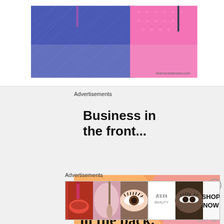[Figure (photo): Top portion showing blue quilted notebook and pink notebook with pen, watermark 'learncreatesew.com']
Advertisements
[Figure (screenshot): WordPress VIP advertisement: 'Business in the front...' in gray section, 'WordPress in the back.' on orange/pink gradient background with WordPress VIP logo and 'Learn more' button]
Advertisements
[Figure (screenshot): Ulta Beauty advertisement banner showing makeup/beauty product photos, ULTA logo, and 'SHOP NOW' text]